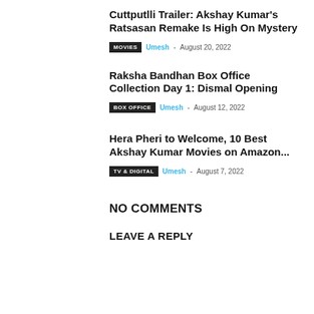Cuttputlli Trailer: Akshay Kumar's Ratsasan Remake Is High On Mystery
MOVIES  Umesh - August 20, 2022
Raksha Bandhan Box Office Collection Day 1: Dismal Opening
BOX OFFICE  Umesh - August 12, 2022
Hera Pheri to Welcome, 10 Best Akshay Kumar Movies on Amazon...
TV & DIGITAL  Umesh - August 7, 2022
NO COMMENTS
LEAVE A REPLY